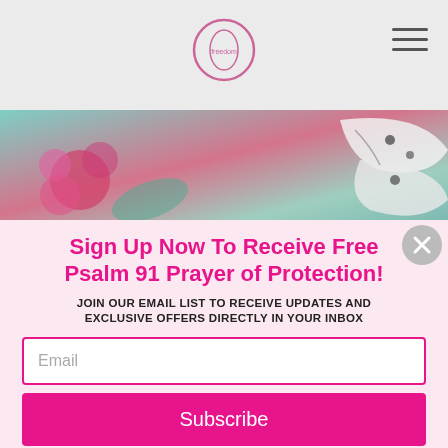[Figure (photo): Website header with centered circular logo and hamburger menu icon on the right, on a light gray background]
[Figure (photo): Background photo strip showing pink flower and butterfly wings in teal/pink tones]
Sign Up Now To Receive Free Psalm 91 Prayer of Protection!
JOIN OUR EMAIL LIST TO RECEIVE UPDATES AND EXCLUSIVE OFFERS DIRECTLY IN YOUR INBOX
Email
Subscribe
*By completing this form you are signing up to receive our emails and can unsubscribe at any time.